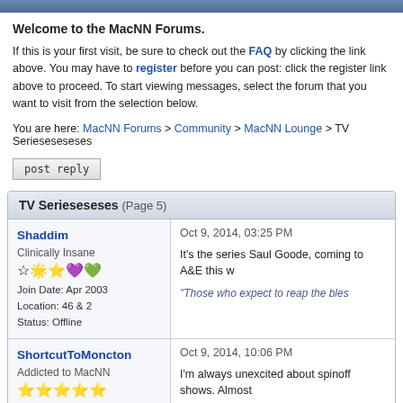Welcome to the MacNN Forums.
If this is your first visit, be sure to check out the FAQ by clicking the link above. You may have to register before you can post: click the register link above to proceed. To start viewing messages, select the forum that you want to visit from the selection below.
You are here: MacNN Forums > Community > MacNN Lounge > TV Serieseseses
post reply
TV Serieseseses (Page 5)
Shaddim
Clinically Insane
Join Date: Apr 2003
Location: 46 & 2
Status: Offline
Oct 9, 2014, 03:25 PM
It's the series Saul Goode, coming to A&E this w
"Those who expect to reap the bles
ShortcutToMoncton
Addicted to MacNN
Oct 9, 2014, 10:06 PM
I'm always unexcited about spinoff shows. Almost and I have no desire for a full-on dose. I suppose